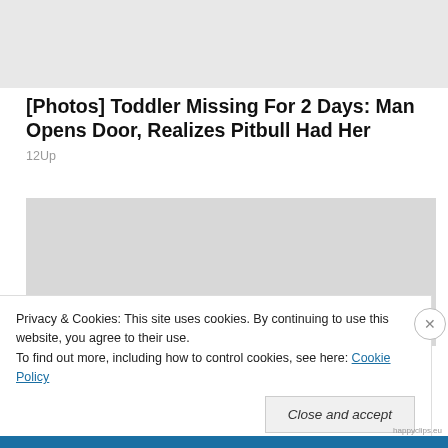[Figure (photo): Partial image of a toddler and animal, light/white background, cropped at top]
[Photos] Toddler Missing For 2 Days: Man Opens Door, Realizes Pitbull Had Her
12Up
[Figure (photo): Light gray placeholder image, partially obscured by cookie notice]
Privacy & Cookies: This site uses cookies. By continuing to use this website, you agree to their use.
To find out more, including how to control cookies, see here: Cookie Policy
Close and accept